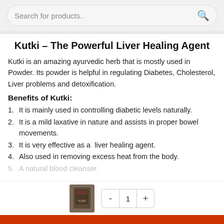Search for products..
Kutki – The Powerful Liver Healing Agent
Kutki is an amazing ayurvedic herb that is mostly used in Powder. Its powder is helpful in regulating Diabetes, Cholesterol, Liver problems and detoxification.
Benefits of Kutki:
1. It is mainly used in controlling diabetic levels naturally.
2. It is a mild laxative in nature and assists in proper bowel movements.
3. It is very effective as a  liver healing agent.
4. Also used in removing excess heat from the body.
5. A natural blood cleanser.